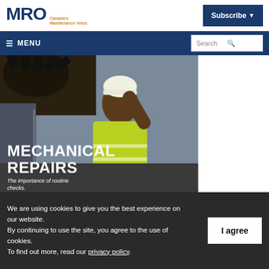MRO Canada's Maintenance Voice
Subscribe
MENU | Search
[Figure (photo): A maintenance worker in a yellow high-visibility vest and white hard hat working on industrial machinery with large gears. Overlaid white bold text reads 'MECHANICAL REPAIRS' and subtitle 'The importance of routine checks.']
We are using cookies to give you the best experience on our website.
By continuing to use the site, you agree to the use of cookies.
To find out more, read our privacy policy.
I agree